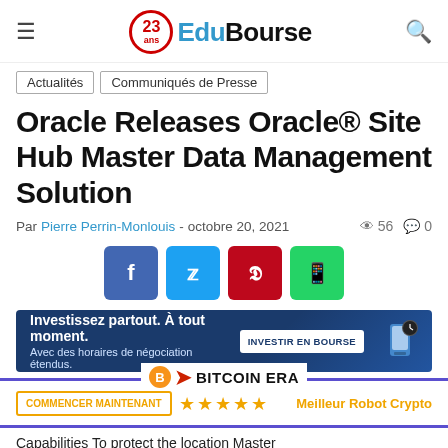EduBourse
Actualités | Communiqués de Presse
Oracle Releases Oracle® Site Hub Master Data Management Solution
Par Pierre Perrin-Monlouis - octobre 20, 2021  56  0
[Figure (infographic): Social sharing buttons: Facebook (blue), Twitter (light blue), Pinterest (red), WhatsApp (green)]
[Figure (infographic): Advertisement banner: Investissez partout. À tout moment. Avec des horaires de négociation étendus. INVESTIR EN BOURSE button with phone graphic.]
[Figure (infographic): Bitcoin ERA promotional banner with COMMENCER MAINTENANT button, 5 stars, Meilleur Robot Crypto text]